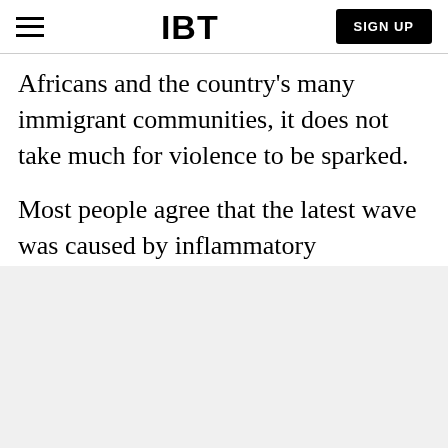IBT | SIGN UP
Africans and the country's many immigrant communities, it does not take much for violence to be sparked.
Most people agree that the latest wave was caused by inflammatory statements from some influential leaders.